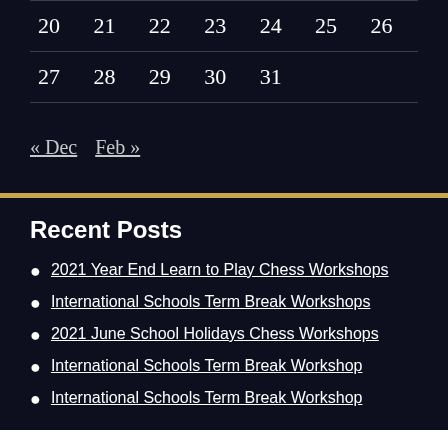| 20 | 21 | 22 | 23 | 24 | 25 | 26 |
| 27 | 28 | 29 | 30 | 31 |  |  |
« Dec   Feb »
Recent Posts
2021 Year End Learn to Play Chess Workshops
International Schools Term Break Workshops
2021 June School Holidays Chess Workshops
International Schools Term Break Workshop
International Schools Term Break Workshop